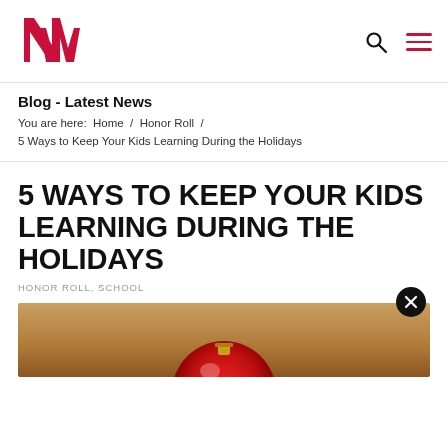[Figure (logo): MW magazine logo in pink/crimson serif font]
Blog - Latest News
You are here:  Home  /  Honor Roll  /  5 Ways to Keep Your Kids Learning During the Holidays
5 WAYS TO KEEP YOUR KIDS LEARNING DURING THE HOLIDAYS
HONOR ROLL, SCHOOL
[Figure (photo): Red Christmas ornament on a warm brown/tan background, partially visible at bottom of page]